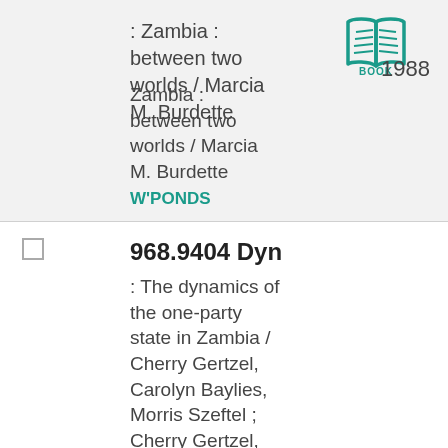: Zambia : between two worlds / Marcia M. Burdette
Zambia : between two worlds / Marcia M. Burdette
W'PONDS
[Figure (illustration): Book icon in teal/green color with the label BOOK beneath it]
1988
968.9404 Dyn
: The dynamics of the one-party state in Zambia / Cherry Gertzel, Carolyn Baylies, Morris Szeftel ; Cherry Gertzel,